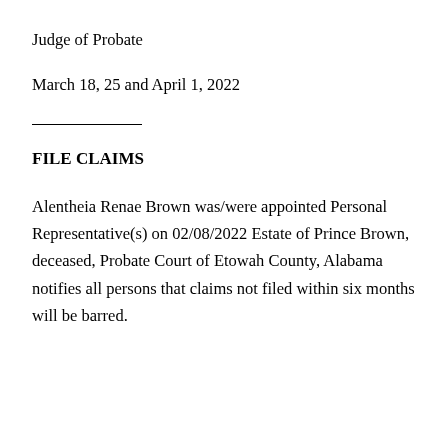Judge of Probate
March 18, 25 and April 1, 2022
FILE CLAIMS
Alentheia Renae Brown was/were appointed Personal Representative(s) on 02/08/2022 Estate of Prince Brown, deceased, Probate Court of Etowah County, Alabama notifies all persons that claims not filed within six months will be barred.